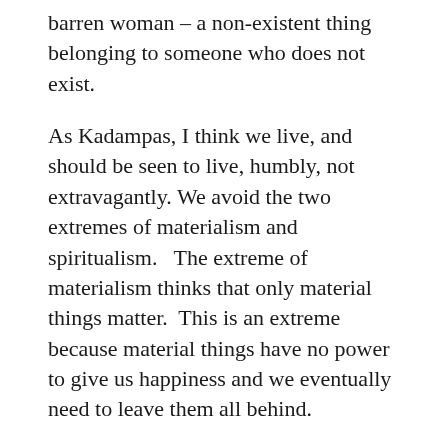barren woman – a non-existent thing belonging to someone who does not exist.
As Kadampas, I think we live, and should be seen to live, humbly, not extravagantly. We avoid the two extremes of materialism and spiritualism.   The extreme of materialism thinks that only material things matter.  This is an extreme because material things have no power to give us happiness and we eventually need to leave them all behind.
The extreme of spiritualism is when we think material things don't matter at all.   This is an extreme because we need certain physical conditions for our practice or to help sustain other devotions. But we need not value them...